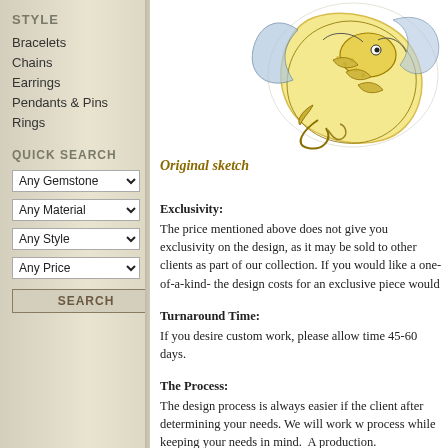STYLE
Bracelets
Chains
Earrings
Pendants & Pins
Rings
QUICK SEARCH
[Figure (illustration): Original sketch of a detailed dragon illustration in yellow and blue ink, circular composition]
Original sketch
Exclusivity: The price mentioned above does not give you exclusivity on the design, as it may be sold to other clients as part of our collection. If you would like a one-of-a-kind- the design costs for an exclusive piece would
Turnaround Time: If you desire custom work, please allow time 45-60 days.
The Process: The design process is always easier if the client after determining your needs. We will work w process while keeping your needs in mind.  A production.